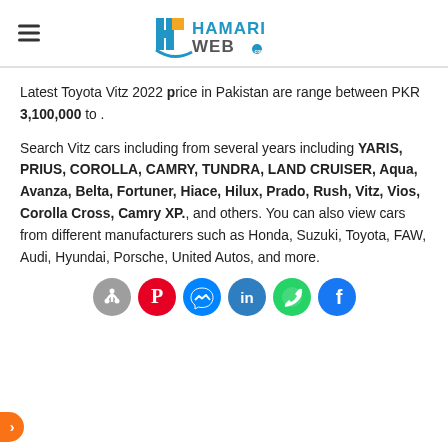HamariWeb
Latest Toyota Vitz 2022 price in Pakistan are range between PKR 3,100,000 to .
Search Vitz cars including from several years including YARIS, PRIUS, COROLLA, CAMRY, TUNDRA, LAND CRUISER, Aqua, Avanza, Belta, Fortuner, Hiace, Hilux, Prado, Rush, Vitz, Vios, Corolla Cross, Camry XP., and others. You can also view cars from different manufacturers such as Honda, Suzuki, Toyota, FAW, Audi, Hyundai, Porsche, United Autos, and more.
[Figure (other): Row of social sharing icons: share, Pinterest, Twitter/Messenger, LinkedIn, WhatsApp, Facebook]